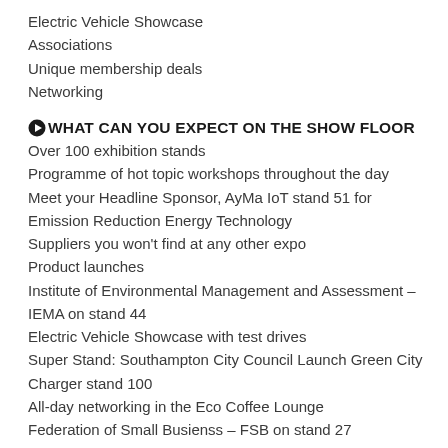Electric Vehicle Showcase
Associations
Unique membership deals
Networking
WHAT CAN YOU EXPECT ON THE SHOW FLOOR
Over 100 exhibition stands
Programme of hot topic workshops throughout the day
Meet your Headline Sponsor, AyMa IoT stand 51 for Emission Reduction Energy Technology
Suppliers you won’t find at any other expo
Product launches
Institute of Environmental Management and Assessment – IEMA on stand 44
Electric Vehicle Showcase with test drives
Super Stand: Southampton City Council Launch Green City Charger stand 100
All-day networking in the Eco Coffee Lounge
Federation of Small Busienss – FSB on stand 27